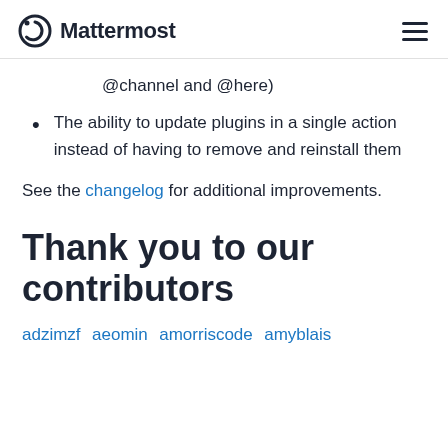Mattermost
@channel and @here)
The ability to update plugins in a single action instead of having to remove and reinstall them
See the changelog for additional improvements.
Thank you to our contributors
adzimzf  aeomin  amorriscode  amyblais